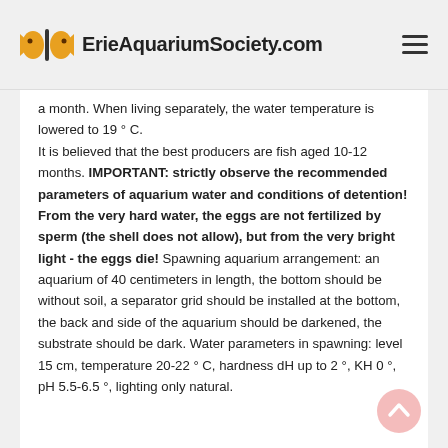ErieAquariumSociety.com
a month. When living separately, the water temperature is lowered to 19 ° C. It is believed that the best producers are fish aged 10-12 months. IMPORTANT: strictly observe the recommended parameters of aquarium water and conditions of detention! From the very hard water, the eggs are not fertilized by sperm (the shell does not allow), but from the very bright light - the eggs die! Spawning aquarium arrangement: an aquarium of 40 centimeters in length, the bottom should be without soil, a separator grid should be installed at the bottom, the back and side of the aquarium should be darkened, the substrate should be dark. Water parameters in spawning: level 15 cm, temperature 20-22 ° C, hardness dH up to 2 °, KH 0 °, pH 5.5-6.5 °, lighting only natural.